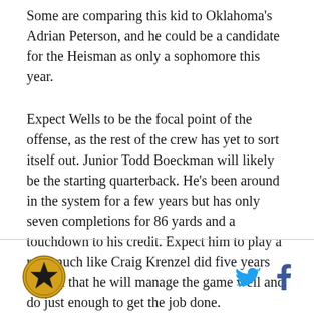Some are comparing this kid to Oklahoma's Adrian Peterson, and he could be a candidate for the Heisman as only a sophomore this year.
Expect Wells to be the focal point of the offense, as the rest of the crew has yet to sort itself out. Junior Todd Boeckman will likely be the starting quarterback. He's been around in the system for a few years but has only seven completions for 86 yards and a touchdown to his credit. Expect him to play a role much like Craig Krenzel did five years ago, in that he will manage the game well and do just enough to get the job done.
Logo and social media icons